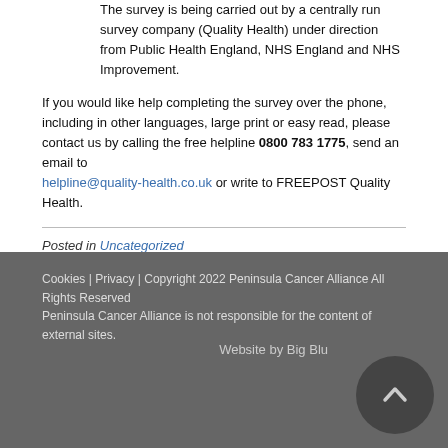The survey is being carried out by a centrally run survey company (Quality Health) under direction from Public Health England, NHS England and NHS Improvement.
If you would like help completing the survey over the phone, including in other languages, large print or easy read, please contact us by calling the free helpline 0800 783 1775, send an email to helpline@quality-health.co.uk or write to FREEPOST Quality Health.
Posted in Uncategorized
Cookies | Privacy | Copyright 2022 Peninsula Cancer Alliance All Rights Reserved
Peninsula Cancer Alliance is not responsible for the content of external sites.
Website by Big Blu